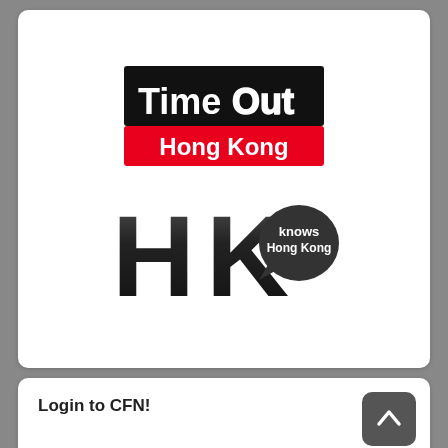[Figure (logo): Time Out Hong Kong logo - black rectangle with 'TimeOut' text in white with outlined style, red bar below with 'Hong Kong' in white text]
[Figure (logo): HKO logo - large bold 'HK' letters in black gradient, with speech bubble containing 'knows Hong Kong' text]
Login to CFN!
Username: